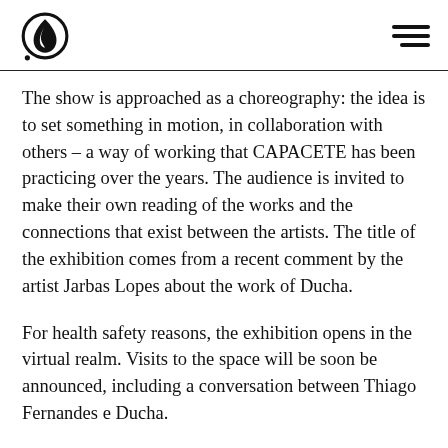[Logo] [Hamburger menu]
The show is approached as a choreography: the idea is to set something in motion, in collaboration with others – a way of working that CAPACETE has been practicing over the years. The audience is invited to make their own reading of the works and the connections that exist between the artists. The title of the exhibition comes from a recent comment by the artist Jarbas Lopes about the work of Ducha.
For health safety reasons, the exhibition opens in the virtual realm. Visits to the space will be soon be announced, including a conversation between Thiago Fernandes e Ducha.